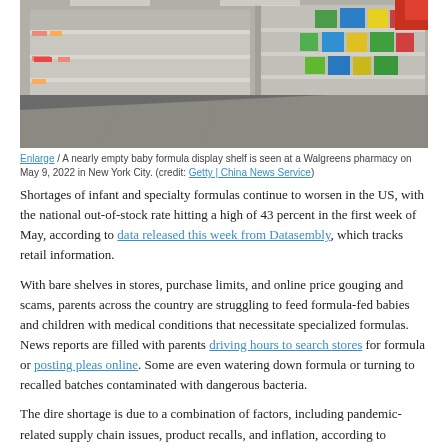[Figure (photo): A nearly empty baby formula display shelf at a Walgreens pharmacy, showing mostly bare shelves with a few products remaining on the right side.]
Enlarge / A nearly empty baby formula display shelf is seen at a Walgreens pharmacy on May 9, 2022 in New York City. (credit: Getty | China News Service)
Shortages of infant and specialty formulas continue to worsen in the US, with the national out-of-stock rate hitting a high of 43 percent in the first week of May, according to data released this week from Datasembly, which tracks retail information.
With bare shelves in stores, purchase limits, and online price gouging and scams, parents across the country are struggling to feed formula-fed babies and children with medical conditions that necessitate specialized formulas. News reports are filled with parents driving hours to search stores for formula or posting pleas online. Some are even watering down formula or turning to recalled batches contaminated with dangerous bacteria.
The dire shortage is due to a combination of factors, including pandemic-related supply chain issues, product recalls, and inflation, according to Datasembly CEO Ben Reich.
Read 9 remaining paragraphs | Comments